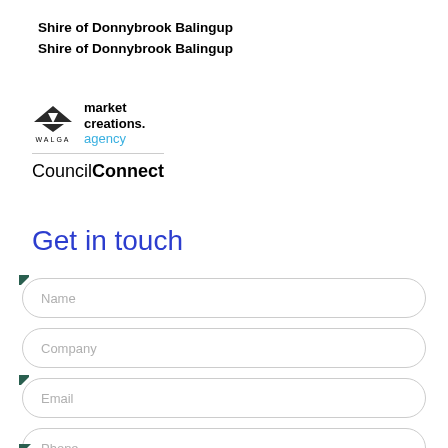Shire of Donnybrook Balingup
Shire of Donnybrook Balingup
[Figure (logo): WALGA Market Creations Agency and CouncilConnect logos stacked vertically]
Get in touch
Name
Company
Email
Phone